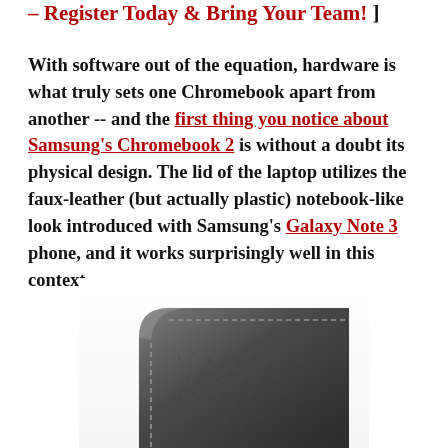– Register Today & Bring Your Team! ]
With software out of the equation, hardware is what truly sets one Chromebook apart from another -- and the first thing you notice about Samsung's Chromebook 2 is without a doubt its physical design. The lid of the laptop utilizes the faux-leather (but actually plastic) notebook-like look introduced with Samsung's Galaxy Note 3 phone, and it works surprisingly well in this context.
[Figure (photo): Close-up photo of the corner of Samsung's Chromebook 2 showing the faux-leather textured lid with stitching detail]